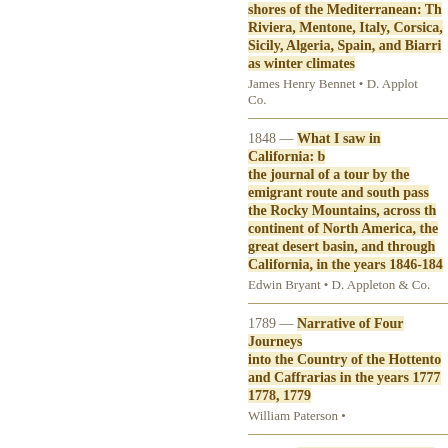shores of the Mediterranean: The Riviera, Mentone, Italy, Corsica, Sicily, Algeria, Spain, and Biarritz as winter climates — James Henry Bennet • D. Appleton & Co.
1848 — What I saw in California: being the journal of a tour by the emigrant route and south pass of the Rocky Mountains, across the continent of North America, the great desert basin, and through California, in the years 1846-1847 — Edwin Bryant • D. Appleton & Co.
1789 — Narrative of Four Journeys into the Country of the Hottentots and Caffrarias in the years 1777, 1778, 1779 — William Paterson •
1766 — Voyages and Travels in the...